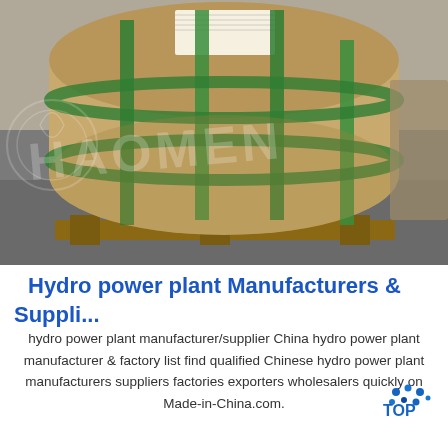[Figure (photo): Photograph of a large industrial paper/metal coil wrapped in brown kraft paper with green strapping bands, sitting on a wooden pallet in a warehouse. A watermark reading 'HAOMEN' is overlaid on the image.]
Hydro power plant Manufacturers & Suppli...
hydro power plant manufacturer/supplier China hydro power plant manufacturer & factory list find qualified Chinese hydro power plant manufacturers suppliers factories exporters wholesalers quickly on Made-in-China.com.